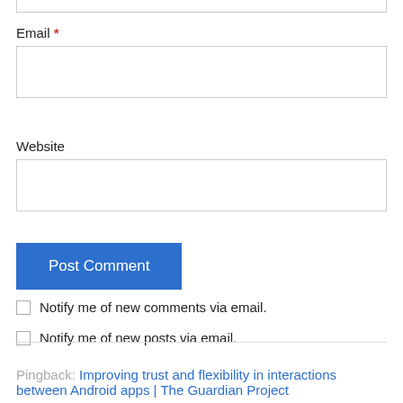Email *
[Figure (screenshot): Email text input field (empty)]
Website
[Figure (screenshot): Website text input field (empty)]
[Figure (screenshot): Post Comment button (blue)]
Notify me of new comments via email.
Notify me of new posts via email.
Pingback: Improving trust and flexibility in interactions between Android apps | The Guardian Project